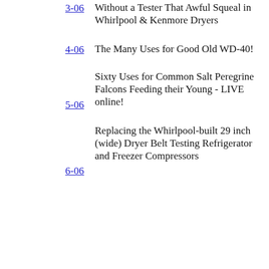3-06 Without a Tester That Awful Squeal in Whirlpool & Kenmore Dryers
4-06 The Many Uses for Good Old WD-40!
5-06 Sixty Uses for Common Salt Peregrine Falcons Feeding their Young - LIVE online!
6-06 Replacing the Whirlpool-built 29 inch (wide) Dryer Belt Testing Refrigerator and Freezer Compressors